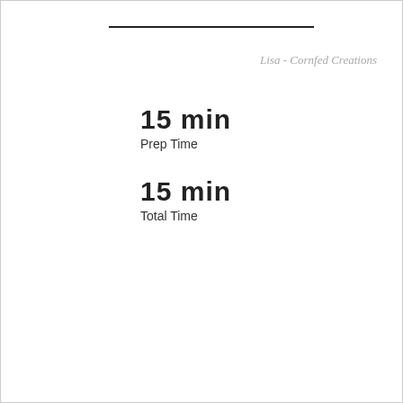Lisa - Cornfed Creations
15 min
Prep Time
15 min
Total Time